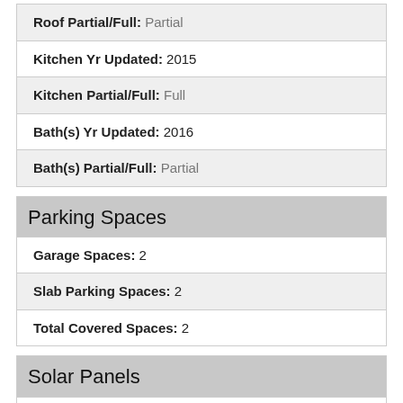| Roof Partial/Full: | Partial |
| Kitchen Yr Updated: | 2015 |
| Kitchen Partial/Full: | Full |
| Bath(s) Yr Updated: | 2016 |
| Bath(s) Partial/Full: | Partial |
Parking Spaces
| Garage Spaces: | 2 |
| Slab Parking Spaces: | 2 |
| Total Covered Spaces: | 2 |
Solar Panels
| Ownership: | Owned |
| Grid: | On |